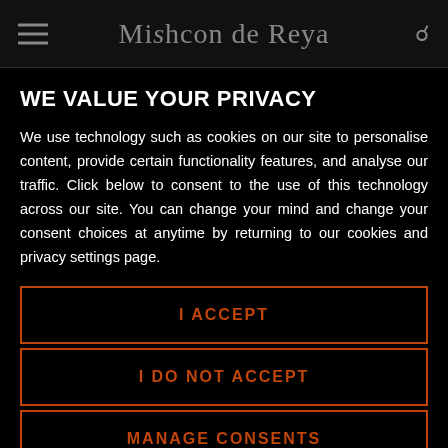Mishcon de Reya
WE VALUE YOUR PRIVACY
We use technology such as cookies on our site to personalise content, provide certain functionality features, and analyse our traffic. Click below to consent to the use of this technology across our site. You can change your mind and change your consent choices at anytime by returning to our cookies and privacy settings page.
I ACCEPT
I DO NOT ACCEPT
MANAGE CONSENTS